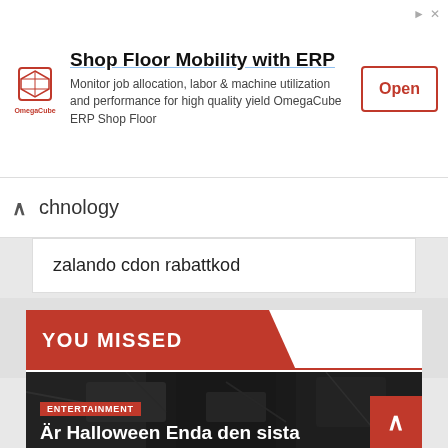[Figure (other): Advertisement banner for OmegaCube ERP Shop Floor with logo, headline 'Shop Floor Mobility with ERP', description text, and an Open button]
chnology
zalando cdon rabattkod
YOU MISSED
[Figure (photo): Dark rocky texture image for Halloween article]
ENTERTAINMENT
Är Halloween Enda den sista